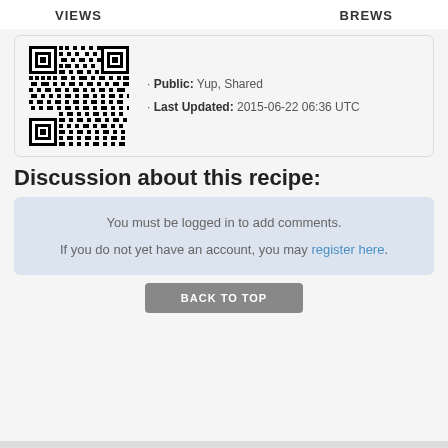VIEWS   BREWS
[Figure (other): QR code image with metadata: Public: Yup, Shared. Last Updated: 2015-06-22 06:36 UTC]
Discussion about this recipe:
You must be logged in to add comments.
If you do not yet have an account, you may register here.